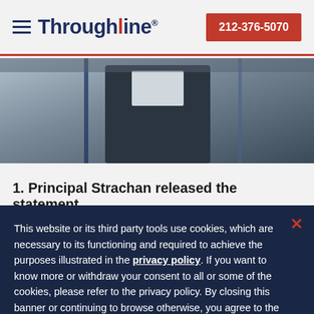Throughline — 212-376-5070
[Figure (photo): Partial photo of a person in a suit, likely a principal or official, with flags visible in the background]
1. Principal Strachan released the statement
This website or its third party tools use cookies, which are necessary to its functioning and required to achieve the purposes illustrated in the privacy policy. If you want to know more or withdraw your consent to all or some of the cookies, please refer to the privacy policy. By closing this banner or continuing to browse otherwise, you agree to the use of cookies.